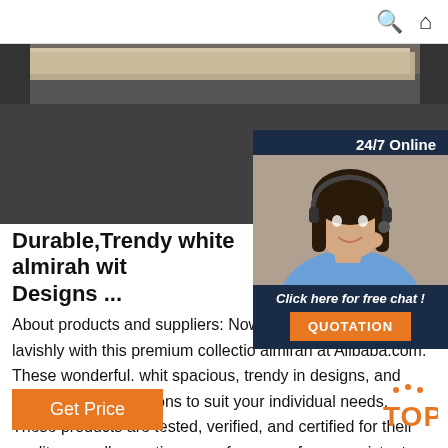Search | Home
[Figure (photo): Dark background with light-colored flat board panels overlapping on dark grey/black surface]
[Figure (infographic): 24/7 Online chat widget with female customer service agent wearing headset, 'Click here for free chat!' text, and QUOTATION button]
Durable,Trendy white almirah with Designs ...
About products and suppliers: Now you can decorate your room more lavishly with this premium collection of white almirah at Alibaba.com. These wonderful. white almirah are spacious, trendy in designs, and come with distinct color variations to suit your individual needs. These products are tested, verified, and certified for their quality as well as optimum performance for a consistent period.
Get Price
[Figure (logo): TOP badge logo in orange with dots above]